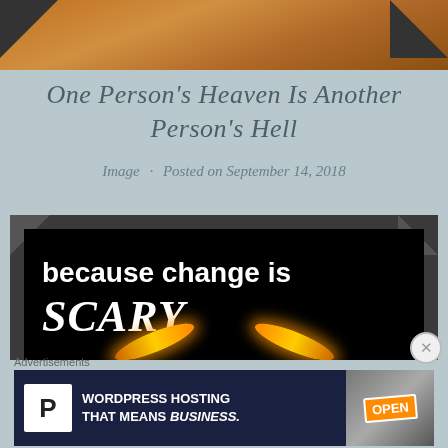[Figure (photo): Top portion of an image with warm orange and brown tones, partially visible at top of page with dark corner decorations]
One Person's Heaven Is Another Person's Hell
Image · Posted on September 14, 2018
[Figure (photo): Black background image with white bold text reading 'because change is SCARY.' and glowing orange/yellow eyes at the bottom]
Advertisements
[Figure (other): WordPress Hosting advertisement banner: P logo, text 'WORDPRESS HOSTING THAT MEANS BUSINESS.' and an OPEN sign image on the right]